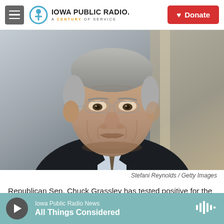Iowa Public Radio. A Century of Service | Donate
[Figure (photo): Older man with gray hair, glasses, wearing a dark suit, serious expression. Photo credit: Stefani Reynolds / Getty Images]
Stefani Reynolds / Getty Images
Republican Sen. Chuck Grassley has tested positive for the coronavirus.
Iowa Public Radio News — All Things Considered